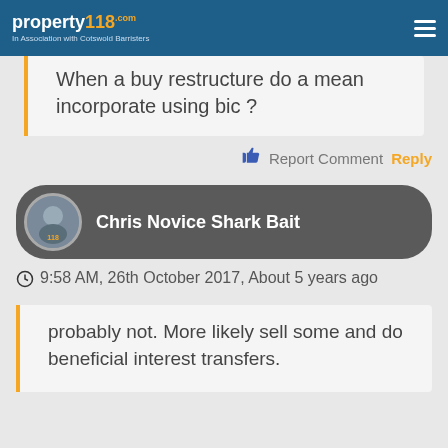property118.com - In Association with Cotswold Barristers
When a buy restructure do a mean incorporate using bic ?
Report Comment Reply
Chris Novice Shark Bait
9:58 AM, 26th October 2017, About 5 years ago
probably not. More likely sell some and do beneficial interest transfers.